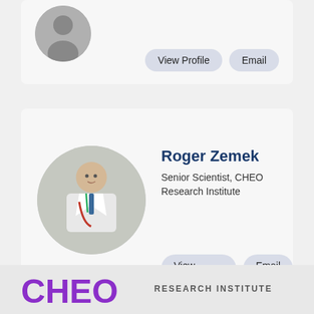[Figure (photo): Partial profile card showing top of a clipped circular headshot photo with View Profile and Email buttons]
[Figure (photo): Profile card for Roger Zemek showing circular headshot of man in white coat with stethoscope]
Roger Zemek
Senior Scientist, CHEO Research Institute
[Figure (logo): CHEO Research Institute logo at bottom of page]